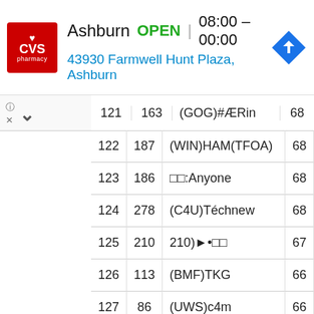[Figure (logo): CVS Pharmacy red logo with heart]
Ashburn  OPEN | 08:00 – 00:00
43930 Farmwell Hunt Plaza, Ashburn
|  |  |  |  |
| --- | --- | --- | --- |
| 121 | 163 | (GOG)#ÆRin | 68 |
| 122 | 187 | (WIN)HAM(TFOA) | 68 |
| 123 | 186 | □□:Anyone | 68 |
| 124 | 278 | (C4U)Téchnew | 68 |
| 125 | 210 | 210)►•□□ | 67 |
| 126 | 113 | (BMF)TKG | 66 |
| 127 | 86 | (UWS)c4m | 66 |
| 128 | 300 | (NYA)L.S.P | 66 |
| 129 | 88 | (KOR)□R□□E□□D□ | 66 |
| 130 | 175 | □□□: | 66 |